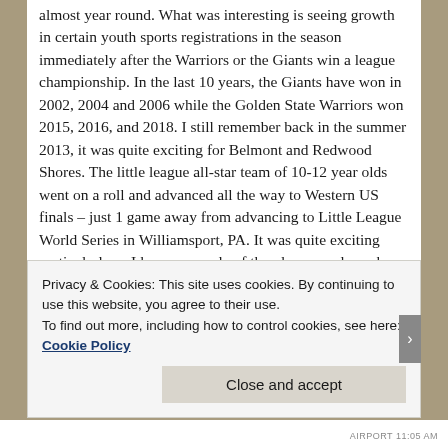almost year round. What was interesting is seeing growth in certain youth sports registrations in the season immediately after the Warriors or the Giants win a league championship. In the last 10 years, the Giants have won in 2002, 2004 and 2006 while the Golden State Warriors won 2015, 2016, and 2018. I still remember back in the summer 2013, it was quite exciting for Belmont and Redwood Shores. The little league all-star team of 10-12 year olds went on a roll and advanced all the way to Western US finals – just 1 game away from advancing to Little League World Series in Williamsport, PA. It was quite exciting particularly as I knew a couple of the players and coaches. Right after that season, an already popular sport became even more so as kids wanted to strive for similar goals.
Privacy & Cookies: This site uses cookies. By continuing to use this website, you agree to their use.
To find out more, including how to control cookies, see here: Cookie Policy